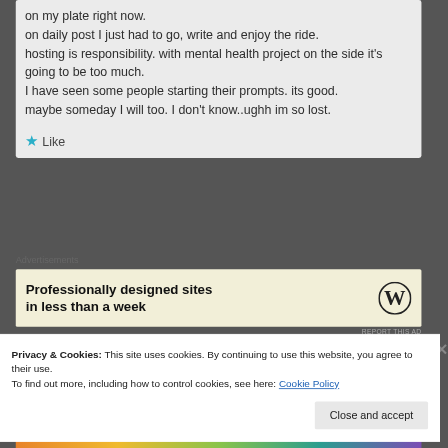on my plate right now.
on daily post I just had to go, write and enjoy the ride.
hosting is responsibility. with mental health project on the side it's going to be too much.
I have seen some people starting their prompts. its good.
maybe someday I will too. I don't know..ughh im so lost.
★ Like
Advertisements
[Figure (other): WordPress advertisement: 'Professionally designed sites in less than a week' with WordPress logo]
REPORT THIS AD
Privacy & Cookies: This site uses cookies. By continuing to use this website, you agree to their use.
To find out more, including how to control cookies, see here: Cookie Policy
Close and accept